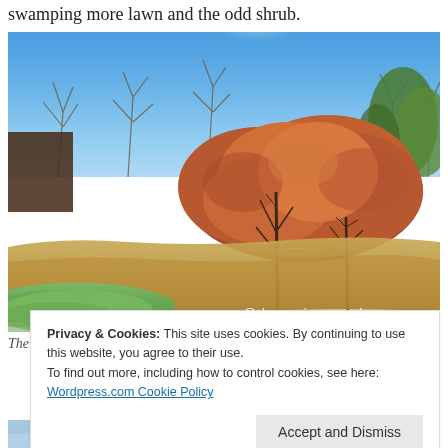swamping more lawn and the odd shrub.
[Figure (photo): Flooded garden with brown flood water covering a large area, green grass visible in foreground, bare deciduous trees in background against blue sky, large copper beech hedge with reddish-brown leaves in middle ground. Watermark '@theanxiousgardener.com' in white text at bottom right.]
The near-stain beech hedge regularly paddles in muddy…
Privacy & Cookies: This site uses cookies. By continuing to use this website, you agree to their use.
To find out more, including how to control cookies, see here:
Wordpress.com Cookie Policy
Accept and Dismiss